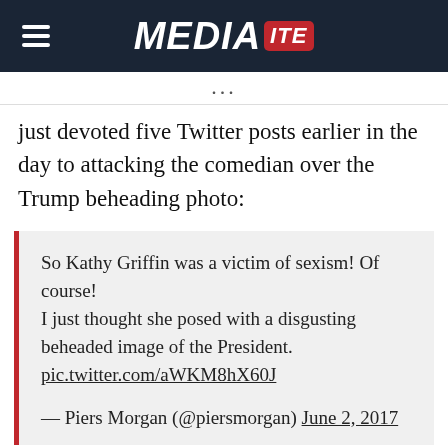MEDIAITE
... just devoted five Twitter posts earlier in the day to attacking the comedian over the Trump beheading photo:
So Kathy Griffin was a victim of sexism! Of course!
I just thought she posed with a disgusting beheaded image of the President.
pic.twitter.com/aWKM8hX60J
— Piers Morgan (@piersmorgan) June 2, 2017